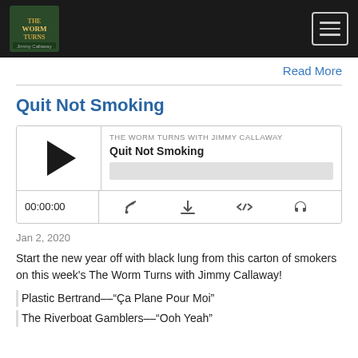The Worm Turns with Jimmy Callaway - Navigation bar
Read More
Quit Not Smoking
[Figure (other): Audio player widget for podcast episode 'Quit Not Smoking' on The Worm Turns with Jimmy Callaway. Shows play button, episode title, progress bar, timestamp 00:00:00, and controls for RSS, download, embed, and audio.]
Jan 2, 2020
Start the new year off with black lung from this carton of smokers on this week’s The Worm Turns with Jimmy Callaway!
Plastic Bertrand––“Ça Plane Pour Moi”
The Riverboat Gamblers––“Ooh Yeah”